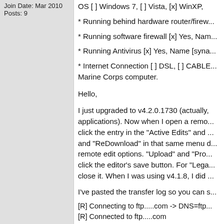Join Date: Mar 2010
Posts: 9
OS [ ] Windows 7, [ ] Vista, [x] WinXP,
* Running behind hardware router/firew...
* Running software firewall [x] Yes, Nam...
* Running Antivirus [x] Yes, Name [syna...
* Internet Connection [ ] DSL, [ ] CABLE... Marine Corps computer.
Hello,
I just upgraded to v4.2.0.1730 (actually, applications). Now when I open a remo... click the entry in the "Active Edits" and ... and "ReDownload" in that same menu d... remote edit options. "Upload" and "Pro... click the editor's save button. For "Lega... close it. When I was using v4.1.8, I did ...
I've pasted the transfer log so you can s...
[R] Connecting to ftp.....com -> DNS=ftp...
[R] Connected to ftp.....com
[R] 220----------- Welcome to Pure-FTPd...
[R] 220-You are user number 2 of 50 all...